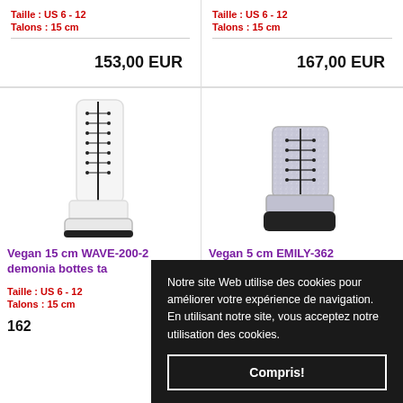Taille : US 6 - 12
Talons : 15 cm
153,00 EUR
Taille : US 6 - 12
Talons : 15 cm
167,00 EUR
[Figure (photo): White vegan platform boots with laces and black zipper detail, tall shaft]
Vegan 15 cm WAVE-200-2 demonia bottes ta…
Taille : US 6 - 12
Talons : 15 cm
162...
[Figure (photo): Silver glitter ankle boots with black laces and thick black sole platform]
Vegan 5 cm EMILY-362
Notre site Web utilise des cookies pour améliorer votre expérience de navigation. En utilisant notre site, vous acceptez notre utilisation des cookies.
Compris!